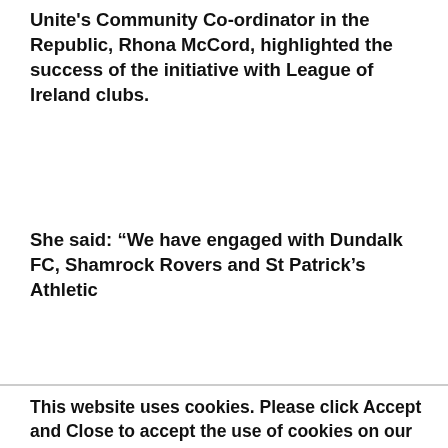Unite's Community Co-ordinator in the Republic, Rhona McCord, highlighted the success of the initiative with League of Ireland clubs.
She said: “We have engaged with Dundalk FC, Shamrock Rovers and St Patrick’s Athletic
This website uses cookies. Please click Accept and Close to accept the use of cookies on our website. By continuing to browse our website you consent to the use of cookies on this website.
ACCEPT AND CLOSE